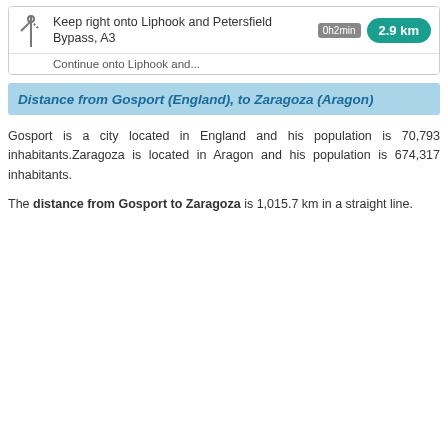[Figure (screenshot): Navigation card showing: keep right onto Liphook and Petersfield Bypass, A3 with time badge 0h2min and distance badge 2.9 km, and a continue onto Liphook and... row below]
Distance from Gosport (England), to Zaragoza (Aragon)
Gosport is a city located in England and his population is 70,793 inhabitants.Zaragoza is located in Aragon and his population is 674,317 inhabitants.
The distance from Gosport to Zaragoza is 1,015.7 km in a straight line.